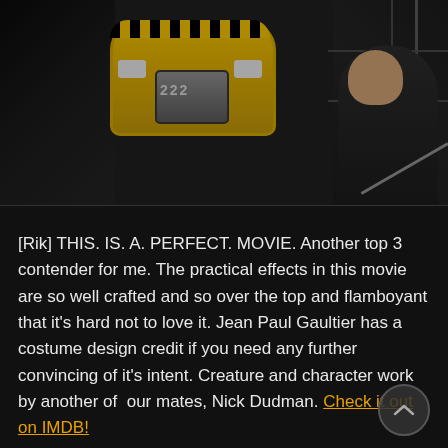[Figure (photo): Behind-the-scenes photo of a film set showing a large yellow futuristic taxi cab prop with checker pattern trim, number 222 on the grille, suspended in an industrial studio. A man in a black shirt leans over equipment working on or near the prop vehicle, surrounded by scaffolding and rigging.]
[Rik] THIS. IS. A. PERFECT. MOVIE. Another top 3 contender for me. The practical effects in this movie are so well crafted and so over the top and flamboyant that it's hard not to love it. Jean Paul Gaultier has a costume design credit if you need any further convincing of it's intent. Creature and character work by another of  our mates, Nick Dudman. Check it out on IMDB!